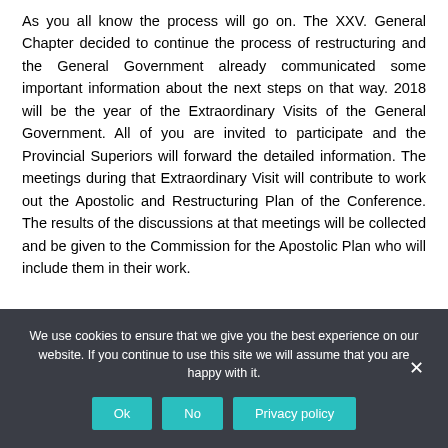As you all know the process will go on. The XXV. General Chapter decided to continue the process of restructuring and the General Government already communicated some important information about the next steps on that way. 2018 will be the year of the Extraordinary Visits of the General Government. All of you are invited to participate and the Provincial Superiors will forward the detailed information. The meetings during that Extraordinary Visit will contribute to work out the Apostolic and Restructuring Plan of the Conference. The results of the discussions at that meetings will be collected and be given to the Commission for the Apostolic Plan who will include them in their work.
We use cookies to ensure that we give you the best experience on our website. If you continue to use this site we will assume that you are happy with it.